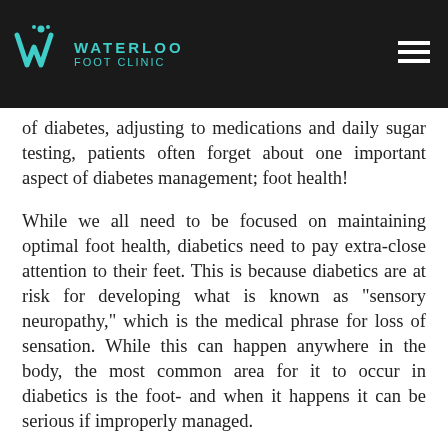Waterloo Foot Clinic
of diabetes, adjusting to medications and daily sugar testing, patients often forget about one important aspect of diabetes management; foot health!
While we all need to be focused on maintaining optimal foot health, diabetics need to pay extra-close attention to their feet. This is because diabetics are at risk for developing what is known as "sensory neuropathy," which is the medical phrase for loss of sensation. While this can happen anywhere in the body, the most common area for it to occur in diabetics is the foot- and when it happens it can be serious if improperly managed.
Usually, sensory neuropathy in the diabetic foot starts with the feeling of tingling numbness or burning. As it progresses, diabetics are at risk for